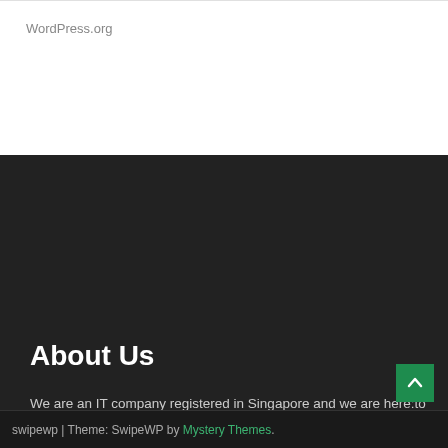WordPress.org
About Us
We are an IT company registered in Singapore and we are here:to solve your technology problems,to provide you the best professional and quality IT services, and to help business go online, build a strong online footprint, start a website, a business blog or social media network to boost sales, get leads, build brands.
[Figure (logo): Teal hexagon with house icon logo beside site title Imperial Program – Home]
swipewp | Theme: SwipeWP by Mystery Themes.